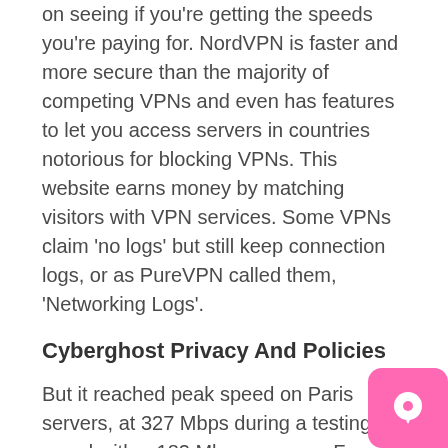on seeing if you're getting the speeds you're paying for. NordVPN is faster and more secure than the majority of competing VPNs and even has features to let you access servers in countries notorious for blocking VPNs. This website earns money by matching visitors with VPN services. Some VPNs claim 'no logs' but still keep connection logs, or as PureVPN called them, 'Networking Logs'.
Cyberghost Privacy And Policies
But it reached peak speed on Paris servers, at 327 Mbps during a testing round with a 182 Mbps average. French servers ranked fastest among those tested in Europe, but German servers underperformed compared to competitor VPNs. UK speeds came in second place for overall highest average at 142 Mbps. In the case of CyberGhost nearly 40% of average internet speed was lost